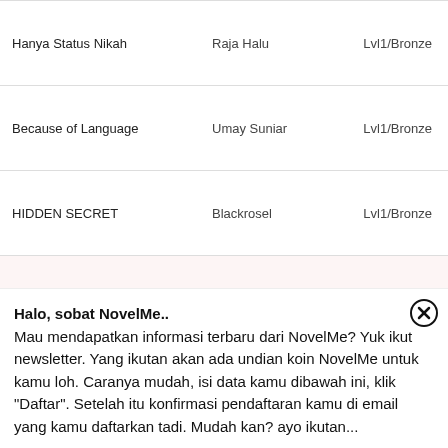| Title | Author | Level |
| --- | --- | --- |
| Hanya Status Nikah | Raja Halu | Lvl1/Bronze |
| Because of Language | Umay Suniar | Lvl1/Bronze |
| HIDDEN SECRET | Blackrosel | Lvl1/Bronze |
| Penderitaan Istri Tersembunyi | Rindi Kurnia | Lvl1/Bronze |
Halo, sobat NovelMe.. Mau mendapatkan informasi terbaru dari NovelMe? Yuk ikut newsletter. Yang ikutan akan ada undian koin NovelMe untuk kamu loh. Caranya mudah, isi data kamu dibawah ini, klik "Daftar". Setelah itu konfirmasi pendaftaran kamu di email yang kamu daftarkan tadi. Mudah kan? ayo ikutan...